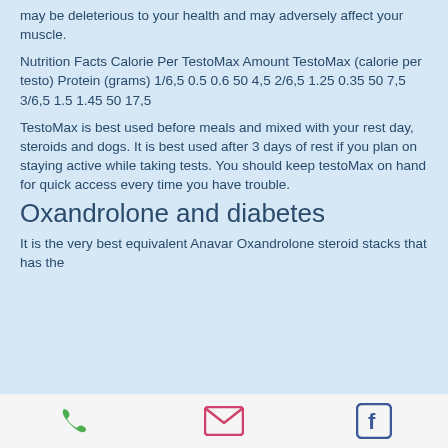may be deleterious to your health and may adversely affect your muscle.
Nutrition Facts Calorie Per TestoMax Amount TestoMax (calorie per testo) Protein (grams) 1/6,5 0.5 0.6 50 4,5 2/6,5 1.25 0.35 50 7,5 3/6,5 1.5 1.45 50 17,5
TestoMax is best used before meals and mixed with your rest day, steroids and dogs. It is best used after 3 days of rest if you plan on staying active while taking tests. You should keep testoMax on hand for quick access every time you have trouble.
Oxandrolone and diabetes
It is the very best equivalent Anavar Oxandrolone steroid stacks that has the
phone | email | facebook